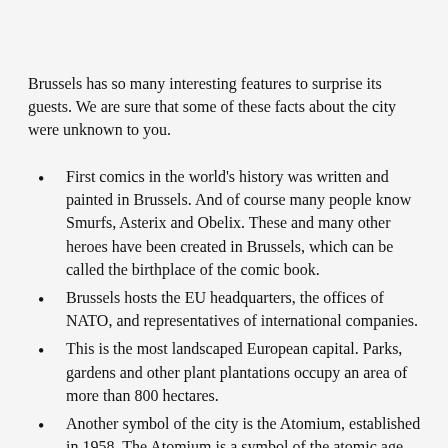Brussels has so many interesting features to surprise its guests. We are sure that some of these facts about the city were unknown to you.
First comics in the world's history was written and painted in Brussels. And of course many people know Smurfs, Asterix and Obelix. These and many other heroes have been created in Brussels, which can be called the birthplace of the comic book.
Brussels hosts the EU headquarters, the offices of NATO, and representatives of international companies.
This is the most landscaped European capital. Parks, gardens and other plant plantations occupy an area of more than 800 hectares.
Another symbol of the city is the Atomium, established in 1958. The Atomium is a symbol of the atomic age and the appeal to use the nuclear energy for peaceful purposes only.
The Brussels' international airport has the largest shop of chocolate products. Connoisseurs can enjoy the best samples